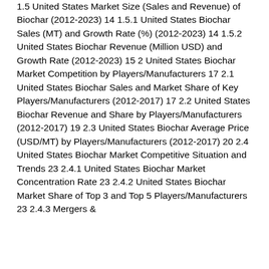1.5 United States Market Size (Sales and Revenue) of Biochar (2012-2023) 14 1.5.1 United States Biochar Sales (MT) and Growth Rate (%) (2012-2023) 14 1.5.2 United States Biochar Revenue (Million USD) and Growth Rate (2012-2023) 15 2 United States Biochar Market Competition by Players/Manufacturers 17 2.1 United States Biochar Sales and Market Share of Key Players/Manufacturers (2012-2017) 17 2.2 United States Biochar Revenue and Share by Players/Manufacturers (2012-2017) 19 2.3 United States Biochar Average Price (USD/MT) by Players/Manufacturers (2012-2017) 20 2.4 United States Biochar Market Competitive Situation and Trends 23 2.4.1 United States Biochar Market Concentration Rate 23 2.4.2 United States Biochar Market Share of Top 3 and Top 5 Players/Manufacturers 23 2.4.3 Mergers &